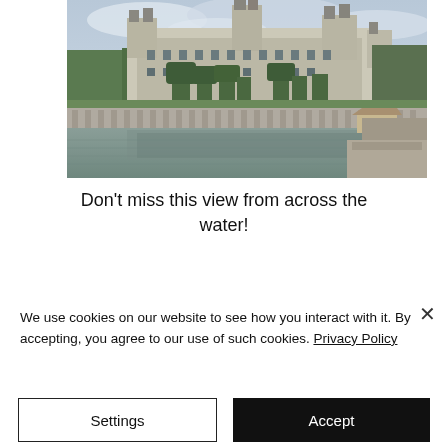[Figure (photo): Photo of Château de Chambord reflecting in a calm body of water, with stone balustrades in the foreground and trees in the background under a cloudy sky.]
Don't miss this view from across the water!
We use cookies on our website to see how you interact with it. By accepting, you agree to our use of such cookies. Privacy Policy